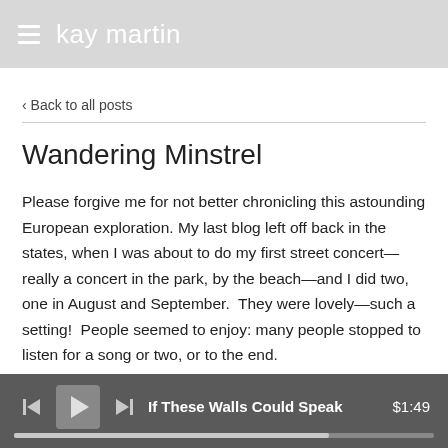kay martin
< Back to all posts
Wandering Minstrel
Please forgive me for not better chronicling this astounding European exploration. My last blog left off back in the states, when I was about to do my first street concert—really a concert in the park, by the beach—and I did two, one in August and September.  They were lovely—such a setting!  People seemed to enjoy: many people stopped to listen for a song or two, or to the end.
I missed live musicians, but the sound was very good~ singing to
If These Walls Could Speak   $1:49